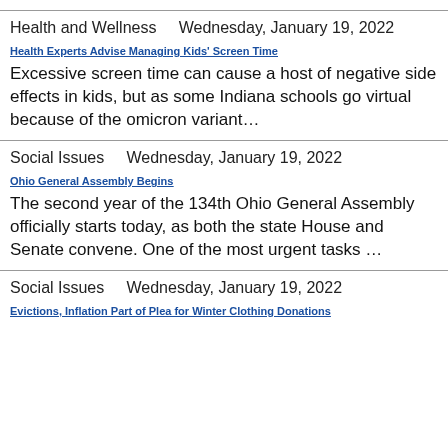Health and Wellness    Wednesday, January 19, 2022
Health Experts Advise Managing Kids' Screen Time
Excessive screen time can cause a host of negative side effects in kids, but as some Indiana schools go virtual because of the omicron variant…
Social Issues    Wednesday, January 19, 2022
Ohio General Assembly Begins
The second year of the 134th Ohio General Assembly officially starts today, as both the state House and Senate convene. One of the most urgent tasks …
Social Issues    Wednesday, January 19, 2022
Evictions, Inflation Part of Plea for Winter Clothing Donations